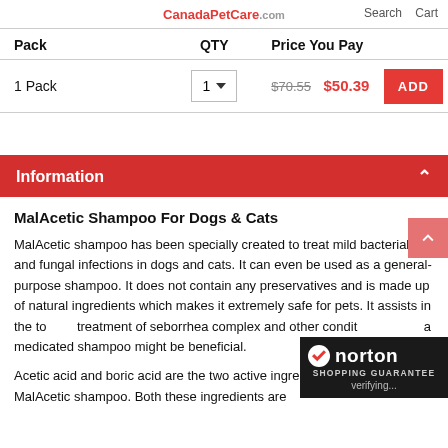CanadaPetCare.com  Search  Cart
| Pack | QTY | Price You Pay |
| --- | --- | --- |
| 1 Pack | 1 ▼ | $70.55  $50.39  ADD |
Information
MalAcetic Shampoo For Dogs & Cats
MalAcetic shampoo has been specially created to treat mild bacterial and fungal infections in dogs and cats. It can even be used as a general-purpose shampoo. It does not contain any preservatives and is made up of natural ingredients which makes it extremely safe for pets. It assists in the topical treatment of seborrhea complex and other conditions where a medicated shampoo might be beneficial.
Acetic acid and boric acid are the two active ingredients present in MalAcetic shampoo. Both these ingredients are